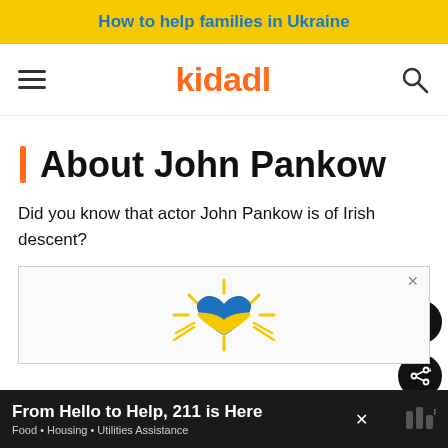How to help families in Ukraine
[Figure (logo): Kidadl logo with hamburger menu and search icon]
About John Pankow
Did you know that actor John Pankow is of Irish descent?
[Figure (illustration): Advertisement illustration with blue and yellow heart/sun design]
From Hello to Help, 211 is Here
Food • Housing • Utilities Assistance